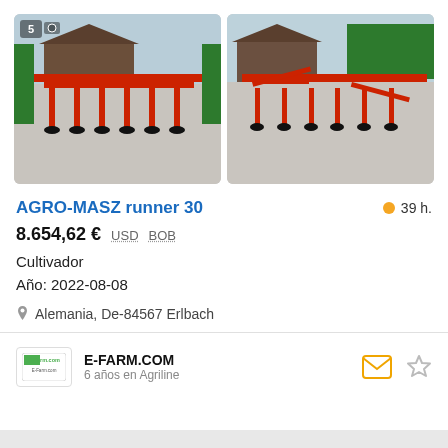[Figure (photo): Red AGRO-MASZ cultivator farm machinery on gravel, front-left view. Badge showing '5' in top-left corner.]
[Figure (photo): Red AGRO-MASZ cultivator farm machinery on gravel, front-right view from slightly different angle.]
AGRO-MASZ runner 30
39 h.
8.654,62 € USD BOB
Cultivador
Año: 2022-08-08
Alemania, De-84567 Erlbach
E-FARM.COM
6 años en Agriline